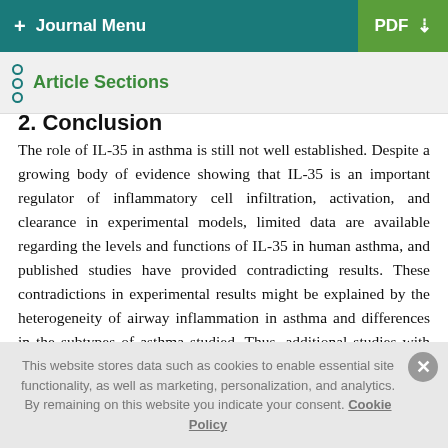+ Journal Menu | PDF ↓
Article Sections
2. Conclusion
The role of IL-35 in asthma is still not well established. Despite a growing body of evidence showing that IL-35 is an important regulator of inflammatory cell infiltration, activation, and clearance in experimental models, limited data are available regarding the levels and functions of IL-35 in human asthma, and published studies have provided contradicting results. These contradictions in experimental results might be explained by the heterogeneity of airway inflammation in asthma and differences in the subtypes of asthma studied. Thus, additional studies with carefully phenotyped asthmatic patients are required to fully
This website stores data such as cookies to enable essential site functionality, as well as marketing, personalization, and analytics. By remaining on this website you indicate your consent. Cookie Policy